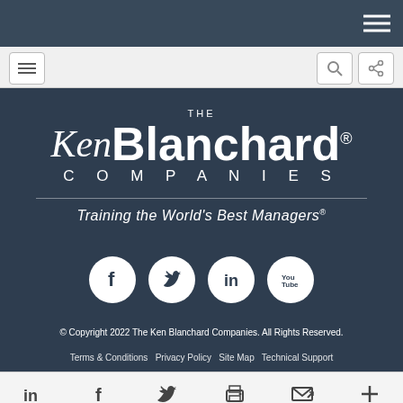[Figure (screenshot): Top dark navigation bar with hamburger menu icon on the right]
[Figure (screenshot): Secondary light navigation bar with menu icon on left, search and share icons on right]
[Figure (logo): The Ken Blanchard Companies logo with tagline 'Training the World's Best Managers®' on dark blue background]
[Figure (infographic): Social media icons row: Facebook, Twitter, LinkedIn, YouTube — white circles on dark background]
© Copyright 2022 The Ken Blanchard Companies. All Rights Reserved.
Terms & Conditions   Privacy Policy   Site Map   Technical Support
[Figure (screenshot): Bottom toolbar with LinkedIn, Facebook, Twitter, print, email, and plus icons]